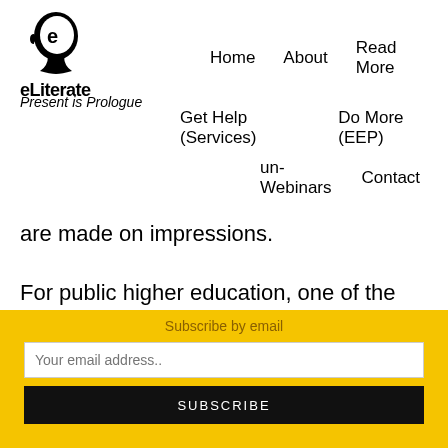[Figure (logo): eLiterate logo: stylized 'e' inside a head silhouette, with text 'eLiterate' below]
Home   About   Read More
Present is Prologue
Get Help (Services)   Do More (EEP)
un-Webinars   Contact
are made on impressions.
For public higher education, one of the critical issues here is our increasing dependence on the organisational practices of the tech sector. Despite
Subscribe by email
Your email address..
SUBSCRIBE